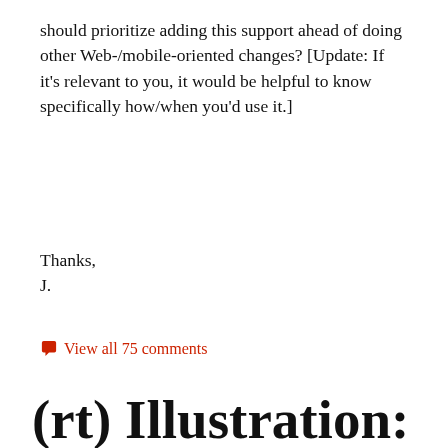should prioritize adding this support ahead of doing other Web-/mobile-oriented changes? [Update: If it's relevant to you, it would be helpful to know specifically how/when you'd use it.]
Thanks,
J.
View all 75 comments
(rt) Illustration: Egress with beer, Sonic Youth, & more